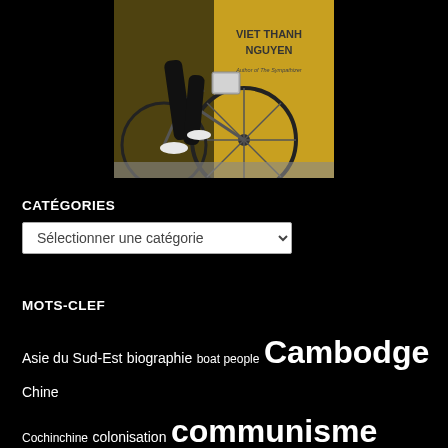[Figure (photo): Book cover image showing a cyclist in front of a yellow wall with text 'VIET THANH NGUYEN Author of The Sympathizer']
CATÉGORIES
Sélectionner une catégorie (dropdown)
MOTS-CLEF
Asie du Sud-Est biographie boat people Cambodge Chine Cochinchine colonisation communisme commémoration culture dissidence droits de l'homme décès démocratie Etats-Unis femmes France guerre d'Indochine guerre du Viêt Nam génocide